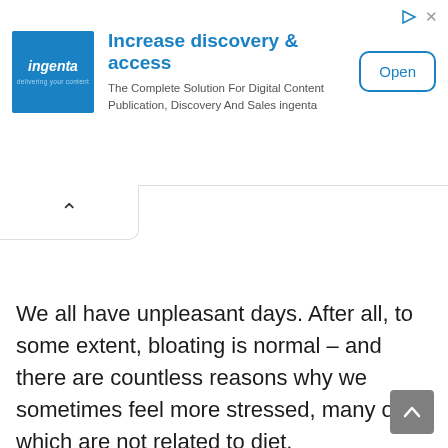[Figure (screenshot): Advertisement banner for Ingenta. Shows Ingenta logo (blue square with white italic text 'ingenta'), headline 'Increase discovery & access', description 'The Complete Solution For Digital Content Publication, Discovery And Sales ingenta', and an 'Open' button. Play and close icons in top-right corner.]
[Figure (screenshot): Navigation tab/button with an up-chevron (^) arrow, indicating a collapsible or scroll-up UI element.]
We all have unpleasant days. After all, to some extent, bloating is normal – and there are countless reasons why we sometimes feel more stressed, many of which are not related to diet.